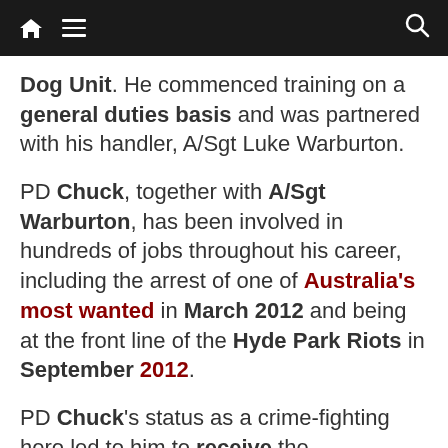[Navigation bar with home, menu, and search icons]
Dog Unit. He commenced training on a general duties basis and was partnered with his handler, A/Sgt Luke Warburton.
PD Chuck, together with A/Sgt Warburton, has been involved in hundreds of jobs throughout his career, including the arrest of one of Australia's most wanted in March 2012 and being at the front line of the Hyde Park Riots in September 2012.
PD Chuck's status as a crime-fighting hero led to him to receive the [continues]